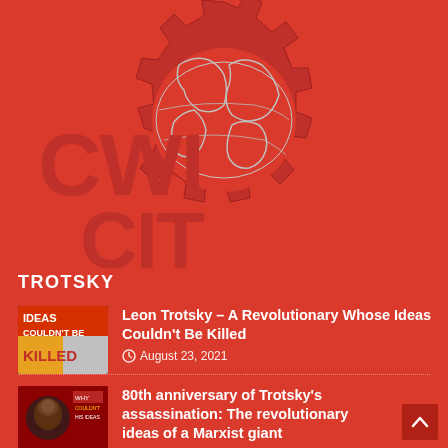[Figure (logo): CWI/CIT logo: red gear with world map outline inside, bold red CWI and CIT text]
TROTSKY
[Figure (photo): Book/article cover with text IDEAS COULDN'T BE KILLED in bold colorful design]
Leon Trotsky – A Revolutionary Whose Ideas Couldn't Be Killed
August 23, 2021
[Figure (photo): 80th anniversary of Trotsky assassination graphic with portrait and revolutionary imagery]
80th anniversary of Trotsky's assassination: The revolutionary ideas of a Marxist giant
August 19, 2020